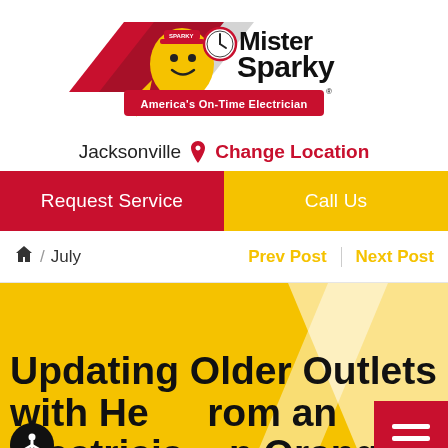[Figure (logo): Mister Sparky logo with cartoon lightbulb character holding a clock, red checkmark background, tagline 'America's On-Time Electrician']
Jacksonville  Change Location
Request Service    Call Us
🏠 / July    Prev Post | Next Post
Updating Older Outlets with Help from an Electrician in Orange